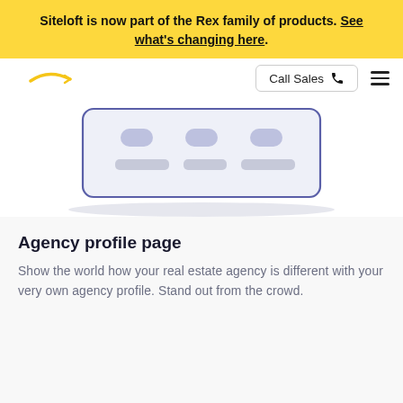Siteloft is now part of the Rex family of products. See what's changing here.
[Figure (screenshot): Navigation bar with logo, Call Sales button with phone icon, and hamburger menu icon]
[Figure (illustration): Stylized illustration of a website profile page UI card with navigation tabs and content placeholders, shown with a soft shadow beneath]
Agency profile page
Show the world how your real estate agency is different with your very own agency profile. Stand out from the crowd.